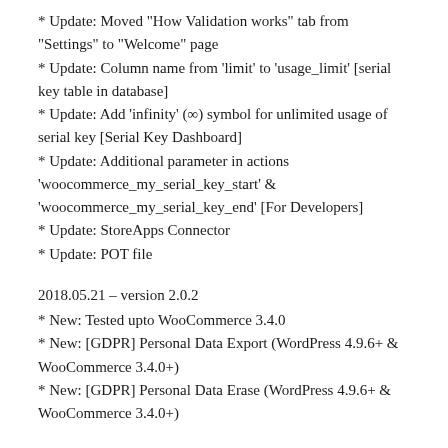* Update: Moved "How Validation works" tab from "Settings" to "Welcome" page
* Update: Column name from 'limit' to 'usage_limit' [serial key table in database]
* Update: Add 'infinity' (∞) symbol for unlimited usage of serial key [Serial Key Dashboard]
* Update: Additional parameter in actions 'woocommerce_my_serial_key_start' & 'woocommerce_my_serial_key_end' [For Developers]
* Update: StoreApps Connector
* Update: POT file
2018.05.21 – version 2.0.2
* New: Tested upto WooCommerce 3.4.0
* New: [GDPR] Personal Data Export (WordPress 4.9.6+ & WooCommerce 3.4.0+)
* New: [GDPR] Personal Data Erase (WordPress 4.9.6+ & WooCommerce 3.4.0+)